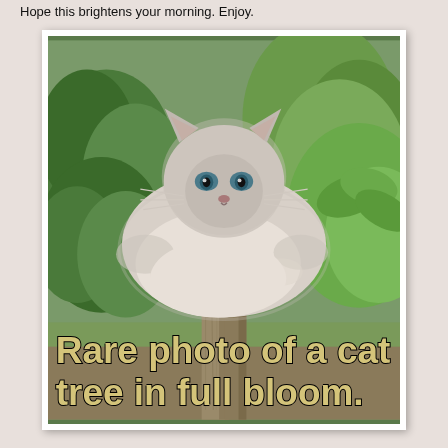Hope this brightens your morning. Enjoy.
[Figure (photo): A large fluffy Ragdoll cat sitting on top of a wooden fence post in a garden, surrounded by green plants. The cat has light gray/cream fur and blue eyes. Overlaid text reads: 'Rare photo of a cat tree in full bloom.']
Rare photo of a cat tree in full bloom.